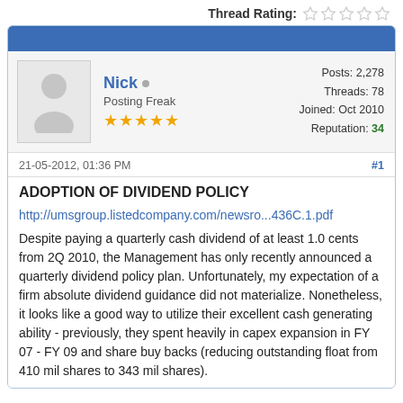Thread Rating: ☆☆☆☆☆
Nick  Posting Freak ★★★★★  Posts: 2,278  Threads: 78  Joined: Oct 2010  Reputation: 34
21-05-2012, 01:36 PM  #1
ADOPTION OF DIVIDEND POLICY
http://umsgroup.listedcompany.com/newsro...436C.1.pdf
Despite paying a quarterly cash dividend of at least 1.0 cents from 2Q 2010, the Management has only recently announced a quarterly dividend policy plan. Unfortunately, my expectation of a firm absolute dividend guidance did not materialize. Nonetheless, it looks like a good way to utilize their excellent cash generating ability - previously, they spent heavily in capex expansion in FY 07 - FY 09 and share buy backs (reducing outstanding float from 410 mil shares to 343 mil shares).